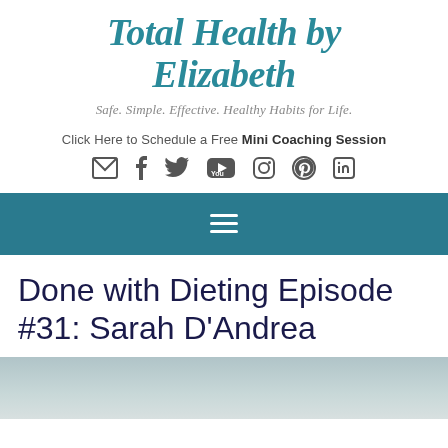Total Health by Elizabeth
Safe. Simple. Effective. Healthy Habits for Life.
Click Here to Schedule a Free Mini Coaching Session
[Figure (other): Social media icons: email, facebook, twitter, youtube, instagram, pinterest, linkedin]
[Figure (other): Navigation bar with hamburger menu icon on teal/dark blue background]
Done with Dieting Episode #31: Sarah D'Andrea
[Figure (photo): Partial photo of a woman, cropped at bottom of page]